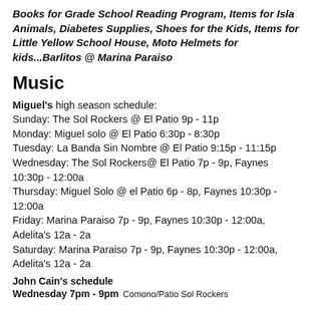Books for Grade School Reading Program, Items for Isla Animals, Diabetes Supplies, Shoes for the Kids, Items for Little Yellow School House, Moto Helmets for kids...Barlitos @ Marina Paraiso
Music
Miguel's high season schedule:
Sunday: The Sol Rockers @ El Patio 9p - 11p
Monday: Miguel solo @ El Patio 6:30p - 8:30p
Tuesday: La Banda Sin Nombre @ El Patio 9:15p - 11:15p
Wednesday: The Sol Rockers@ El Patio 7p - 9p, Faynes 10:30p - 12:00a
Thursday: Miguel Solo @ el Patio 6p - 8p, Faynes 10:30p - 12:00a
Friday: Marina Paraiso 7p - 9p, Faynes 10:30p - 12:00a, Adelita's 12a - 2a
Saturday: Marina Paraiso 7p - 9p, Faynes 10:30p - 12:00a, Adelita's 12a - 2a
John Cain's schedule
Wednesday 7pm - 9pm  Comono/Patio Sol Rockers